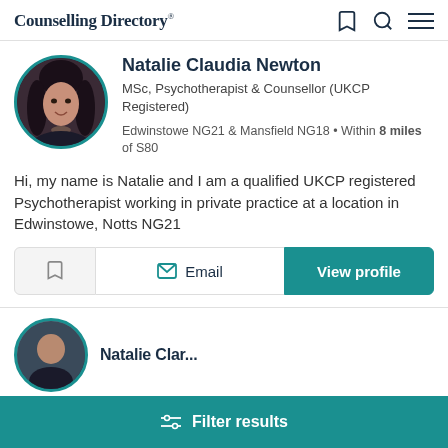Counselling Directory
Natalie Claudia Newton
MSc, Psychotherapist & Counsellor (UKCP Registered)
Edwinstowe NG21 & Mansfield NG18 • Within 8 miles of S80
Hi, my name is Natalie and I am a qualified UKCP registered Psychotherapist working in private practice at a location in Edwinstowe, Notts NG21
Email
View profile
Filter results